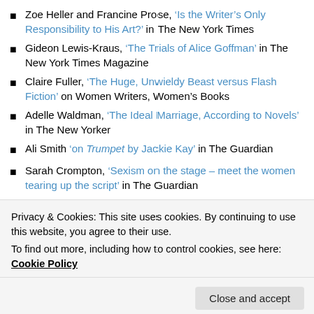Zoe Heller and Francine Prose, 'Is the Writer's Only Responsibility to His Art?' in The New York Times
Gideon Lewis-Kraus, 'The Trials of Alice Goffman' in The New York Times Magazine
Claire Fuller, 'The Huge, Unwieldy Beast versus Flash Fiction' on Women Writers, Women's Books
Adelle Waldman, 'The Ideal Marriage, According to Novels' in The New Yorker
Ali Smith 'on Trumpet by Jackie Kay' in The Guardian
Sarah Crompton, 'Sexism on the stage – meet the women tearing up the script' in The Guardian
Maria Turtschaninoff, 'Why is feminist fantasy important?' in The Bookseller
Privacy & Cookies: This site uses cookies. By continuing to use this website, you agree to their use.
To find out more, including how to control cookies, see here: Cookie Policy
Close and accept